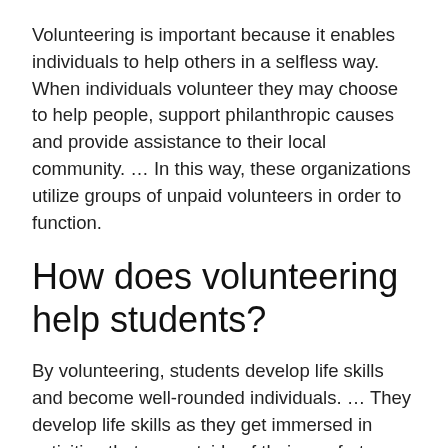Volunteering is important because it enables individuals to help others in a selfless way. When individuals volunteer they may choose to help people, support philanthropic causes and provide assistance to their local community. … In this way, these organizations utilize groups of unpaid volunteers in order to function.
How does volunteering help students?
By volunteering, students develop life skills and become well-rounded individuals. … They develop life skills as they get immersed in activities that are outside of their comfort zones. Volunteering helps students become